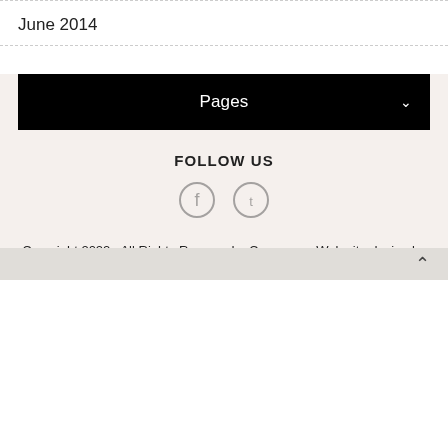June 2014
Pages
FOLLOW US
[Figure (illustration): Social media icons (Facebook and Twitter) displayed below FOLLOW US heading]
Copyright 2022 . All Rights Reserved. eCommerce Web site design by 3DCart.
Back to top chevron arrow